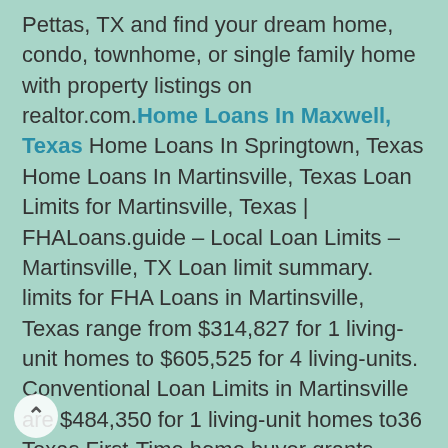Pettas, TX and find your dream home, condo, townhome, or single family home with property listings on realtor.com. Home Loans In Maxwell, Texas Home Loans In Springtown, Texas Home Loans In Martinsville, Texas Loan Limits for Martinsville, Texas | FHALoans.guide – Local Loan Limits – Martinsville, TX Loan limit summary. limits for FHA Loans in Martinsville, Texas range from $314,827 for 1 living-unit homes to $605,525 for 4 living-units. Conventional Loan Limits in Martinsville are $484,350 for 1 living-unit homes to36 Texas First-Time home buyer grants – Coming up with the money to make a down payment and cover the closing costs for a mortgage is one of the biggest hurdles of buying a first home. You may be able to get a boost through a first-time.Search Maxwell, TX Foreclosure Properties – Bank of America – Other Home Loans Links.. REO & Bank Owned Homes in Maxwell, TX. At